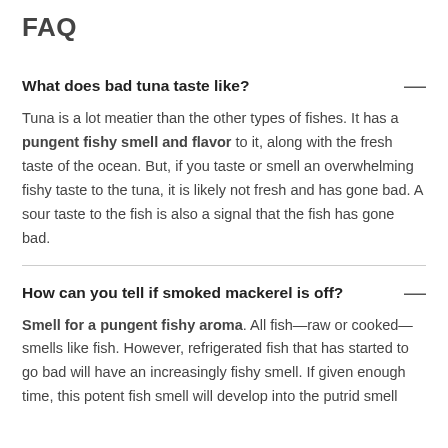FAQ
What does bad tuna taste like?
Tuna is a lot meatier than the other types of fishes. It has a pungent fishy smell and flavor to it, along with the fresh taste of the ocean. But, if you taste or smell an overwhelming fishy taste to the tuna, it is likely not fresh and has gone bad. A sour taste to the fish is also a signal that the fish has gone bad.
How can you tell if smoked mackerel is off?
Smell for a pungent fishy aroma. All fish—raw or cooked—smells like fish. However, refrigerated fish that has started to go bad will have an increasingly fishy smell. If given enough time, this potent fish smell will develop into the putrid smell